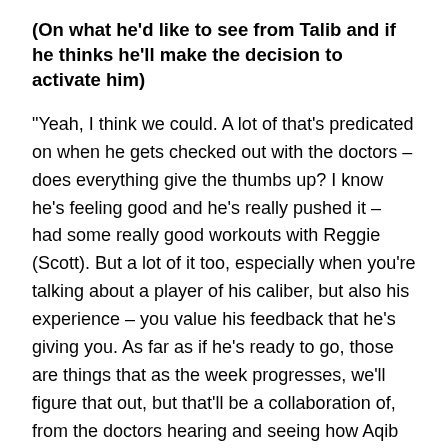(On what he'd like to see from Talib and if he thinks he'll make the decision to activate him)
"Yeah, I think we could. A lot of that's predicated on when he gets checked out with the doctors – does everything give the thumbs up? I know he's feeling good and he's really pushed it – had some really good workouts with Reggie (Scott). But a lot of it too, especially when you're talking about a player of his caliber, but also his experience – you value his feedback that he's giving you. As far as if he's ready to go, those are things that as the week progresses, we'll figure that out, but that'll be a collaboration of, from the doctors hearing and seeing how Aqib does. I know he's excited and just his presence for our team will be a big benefit to us – having him out on the practice field.